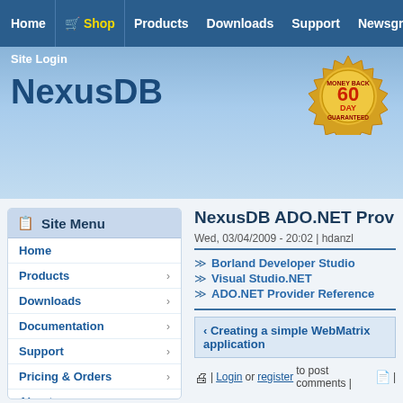Home | Shop | Products | Downloads | Support | Newsgroups
NexusDB
Site Login
[Figure (illustration): Money Back 60 Day Guaranteed gold seal badge]
Site Menu
Home
Products
Downloads
Documentation
Support
Pricing & Orders
About
Community
My Nexus
NexusDB ADO.NET Prov
Wed, 03/04/2009 - 20:02 | hdanzl
Borland Developer Studio
Visual Studio.NET
ADO.NET Provider Reference
‹ Creating a simple WebMatrix application
Login or register to post comments |